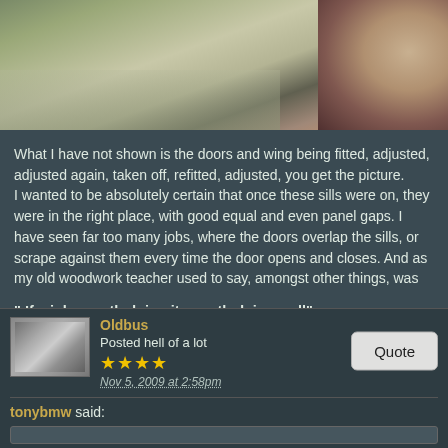[Figure (photo): Partial view of a vehicle undercarriage or floor area, showing a concrete floor and what appears to be a stool or stand on the right side.]
What I have not shown is the doors and wing being fitted, adjusted, adjusted again, taken off, refitted, adjusted, you get the picture.
I wanted to be absolutely certain that once these sills were on, they were in the right place, with good equal and even panel gaps. I have seen far too many jobs, where the doors overlap the sills, or scrape against them every time the door opens and closes. And as my old woodwork teacher used to say, amongst other things, was
" If a jobs worth doing its worth doing well"
Oldbus
Posted hell of a lot
★★★★
Nov 5, 2009 at 2:58pm
Quote
tonybmw said: